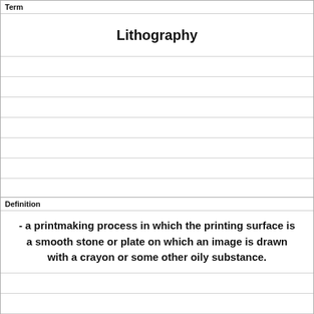Term
Lithography
Definition
- a printmaking process in which the printing surface is a smooth stone or plate on which an image is drawn with a crayon or some other oily substance.